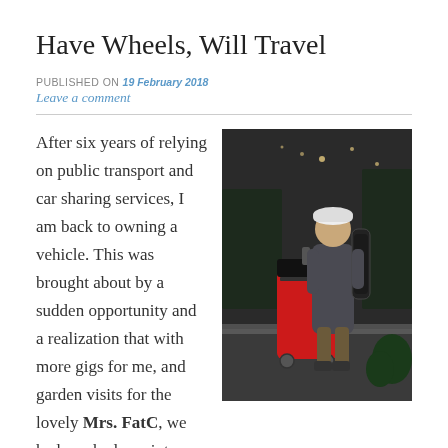Have Wheels, Will Travel
PUBLISHED ON 19 February 2018
Leave a comment
[Figure (photo): A man standing outdoors at night in winter, wearing a cap and jacket, next to a large wheeled bag (appears to be a golf bag or instrument case in red and black). He has a guitar case on his back. Lights and trees visible in the background.]
After six years of relying on public transport and car sharing services, I am back to owning a vehicle. This was brought about by a sudden opportunity and a realization that with more gigs for me, and garden visits for the lovely Mrs. FatC, we had reached a point where it once again made sense. The picture on